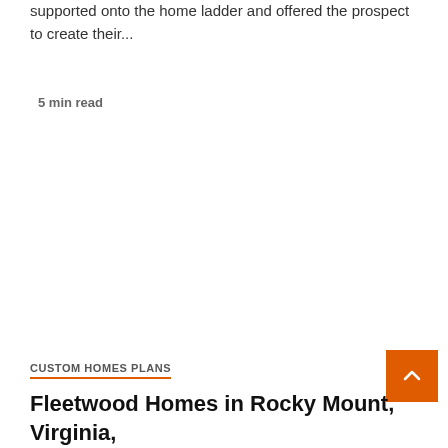supported onto the home ladder and offered the prospect to create their...
5 min read
CUSTOM HOMES PLANS
Fleetwood Homes in Rocky Mount, Virginia,